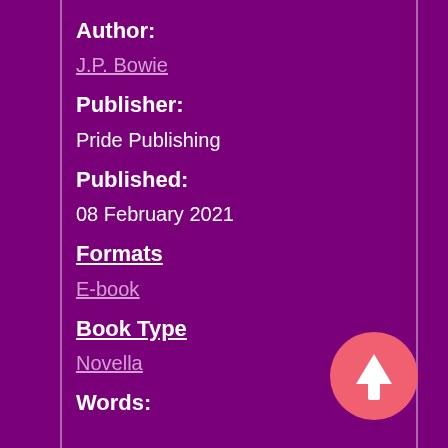Author:
J.P. Bowie
Publisher:
Pride Publishing
Published:
08 February 2021
Formats
E-book
Book Type
Novella
Words:
[Figure (other): Pink circular button with upward arrow icon]